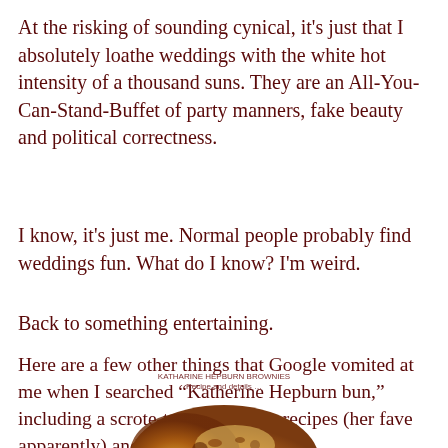At the risking of sounding cynical, it's just that I absolutely loathe weddings with the white hot intensity of a thousand suns. They are an All-You-Can-Stand-Buffet of party manners, fake beauty and political correctness.
I know, it's just me. Normal people probably find weddings fun. What do I know? I'm weird.
Back to something entertaining.
Here are a few other things that Google vomited at me when I searched “Katherine Hepburn bun,” including a scrote-ton of brownie recipes (her fave apparently) and rando cinnamon buns.
KATHARINE HEPBURN BROWNIES
Recipe and details …
[Figure (photo): Partial image of what appears to be cinnamon buns or brownies, cropped at the bottom edge of the page]